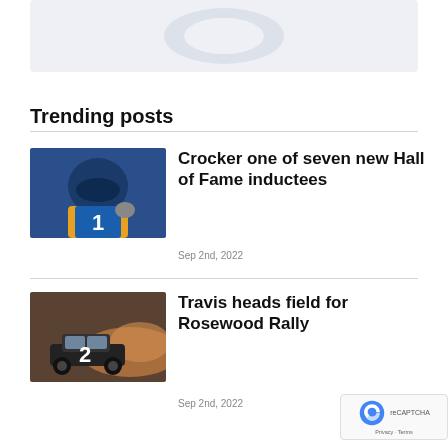[Figure (photo): Light blue/grey banner area at top of page, partial logo visible]
Trending posts
[Figure (photo): Rally car driver in blue suit inside car cockpit, numbered 1]
Crocker one of seven new Hall of Fame inductees
Sep 2nd, 2022
[Figure (photo): Rally car kicking up dust on dirt road, numbered 2]
Travis heads field for Rosewood Rally
Sep 2nd, 2022